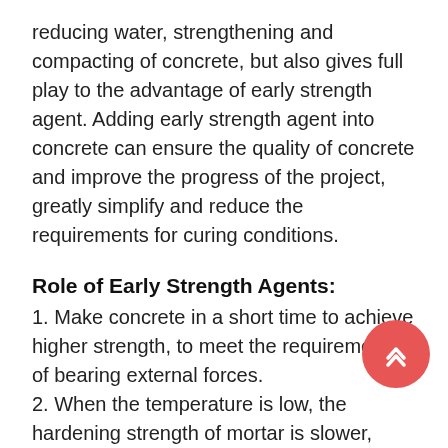reducing water, strengthening and compacting of concrete, but also gives full play to the advantage of early strength agent. Adding early strength agent into concrete can ensure the quality of concrete and improve the progress of the project, greatly simplify and reduce the requirements for curing conditions.
Role of Early Strength Agents:
1. Make concrete in a short time to achieve higher strength, to meet the requirements of bearing external forces.
2. When the temperature is low, the hardening strength of mortar is slower, especially in some frozen soil, the low the strength of mortar is more harmful to mortar, if mo is damaged by freezing will cause permanent damage mortar, so early strength agent must be added at lower